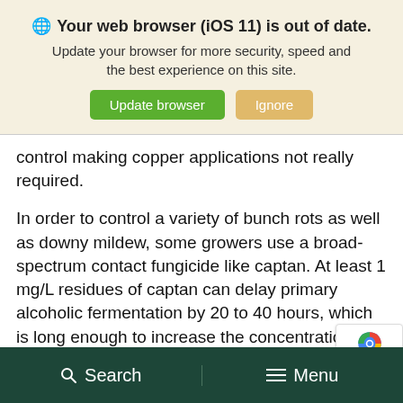[Figure (screenshot): Browser update warning banner with globe icon, bold text 'Your web browser (iOS 11) is out of date.', subtext 'Update your browser for more security, speed and the best experience on this site.', and two buttons: 'Update browser' (green) and 'Ignore' (tan/orange)]
control making copper applications not really required.
In order to control a variety of bunch rots as well as downy mildew, some growers use a broad-spectrum contact fungicide like captan. At least 1 mg/L residues of captan can delay primary alcoholic fermentation by 20 to 40 hours, which is long enough to increase the concentration of indigenous microorganism
Search   Menu